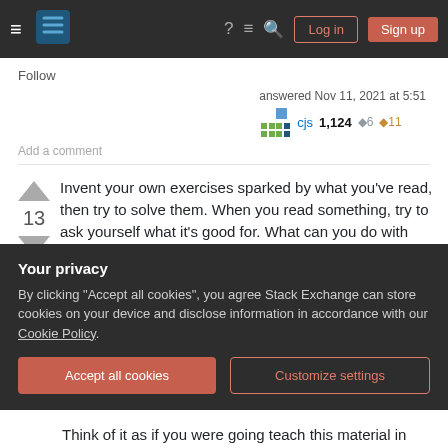Stack Exchange navigation bar with Log in and Sign up buttons
Follow
answered Nov 11, 2021 at 5:51
cjs 1,124  6  11
Add a comment
Invent your own exercises sparked by what you've read, then try to solve them. When you read something, try to ask yourself what it's good for. What can you do with this that you wouldn't be able
Your privacy
By clicking "Accept all cookies", you agree Stack Exchange can store cookies on your device and disclose information in accordance with our Cookie Policy.
Accept all cookies
Customize settings
Think of it as if you were going teach this material in